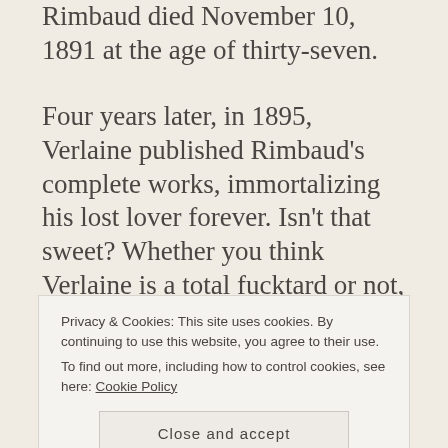Rimbaud died November 10, 1891 at the age of thirty-seven.
Four years later, in 1895, Verlaine published Rimbaud's complete works, immortalizing his lost lover forever. Isn't that sweet? Whether you think Verlaine is a total fucktard or not, his obsession with Rimbaud ensured that we are able to read his work today. I recommend Venus Anadyomène or Mes petites amoureuses, if you're at all curious. Rimbaud's work has inspired poets and artists for two centuries
Privacy & Cookies: This site uses cookies. By continuing to use this website, you agree to their use.
To find out more, including how to control cookies, see here: Cookie Policy
Close and accept
his imprisonment and prior to Rimbaud's